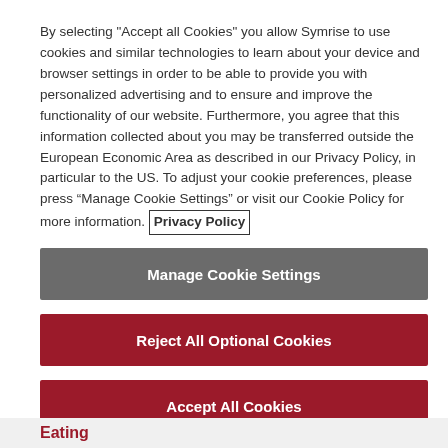By selecting "Accept all Cookies" you allow Symrise to use cookies and similar technologies to learn about your device and browser settings in order to be able to provide you with personalized advertising and to ensure and improve the functionality of our website. Furthermore, you agree that this information collected about you may be transferred outside the European Economic Area as described in our Privacy Policy, in particular to the US. To adjust your cookie preferences, please press “Manage Cookie Settings” or visit our Cookie Policy for more information. Privacy Policy
Manage Cookie Settings
Reject All Optional Cookies
Accept All Cookies
Eating